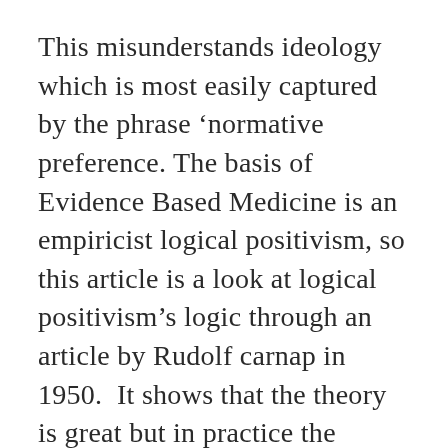This misunderstands ideology which is most easily captured by the phrase 'normative preference. The basis of Evidence Based Medicine is an empiricist logical positivism, so this article is a look at logical positivism's logic through an article by Rudolf carnap in 1950.  It shows that the theory is great but in practice the names given to things or to abstract concepts are accepted and used on the basis of their context and their intent. Language is a social and economic tool that disperses power and subordination